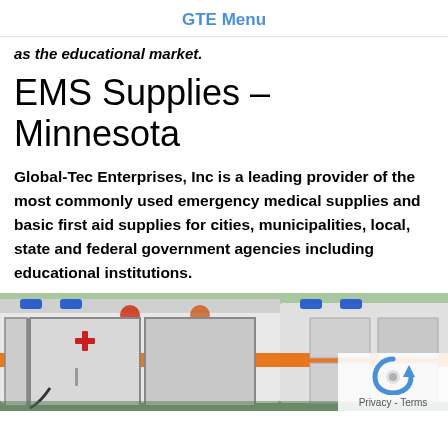GTE Menu
as the educational market.
EMS Supplies – Minnesota
Global-Tec Enterprises, Inc is a leading provider of the most commonly used emergency medical supplies and basic first aid supplies for cities, municipalities, local, state and federal government agencies including educational institutions.
[Figure (photo): Rear view of an ambulance with open doors, blue and orange lights on top, parked outdoors.]